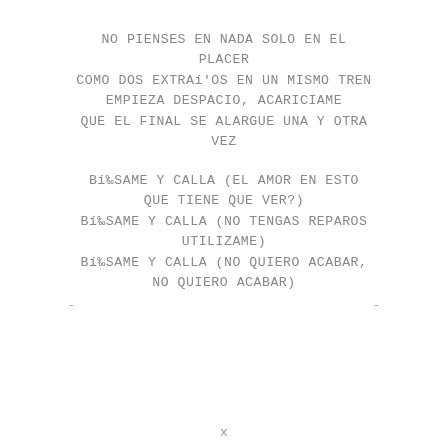NO PIENSES EN NADA SOLO EN EL PLACER
COMO DOS EXTRAí'OS EN UN MISMO TREN
EMPIEZA DESPACIO, ACARICIAME
QUE EL FINAL SE ALARGUE UNA Y OTRA VEZ
Bí%oSAME Y CALLA (EL AMOR EN ESTO QUE TIENE QUE VER?)
Bí%oSAME Y CALLA (NO TENGAS REPAROS UTILIZAME)
Bí%oSAME Y CALLA (NO QUIERO ACABAR, NO QUIERO ACABAR)